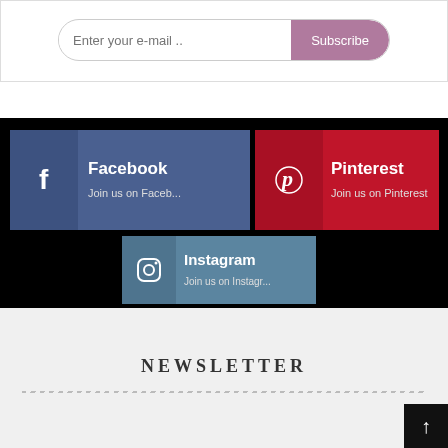Enter your e-mail ..
Subscribe
[Figure (infographic): Facebook social media button with icon and text 'Facebook / Join us on Faceb...']
[Figure (infographic): Pinterest social media button with icon and text 'Pinterest / Join us on Pinterest']
[Figure (infographic): Instagram social media button with icon and text 'Instagram / Join us on Instagr...']
NEWSLETTER
Back to top button